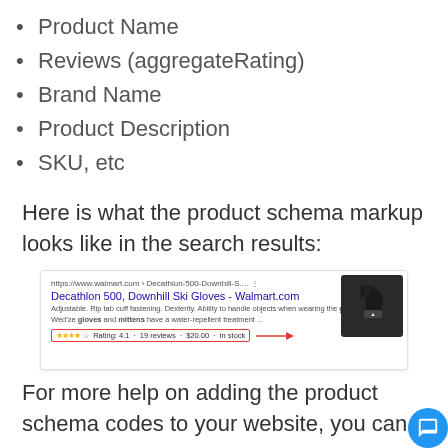Product Name
Reviews (aggregateRating)
Brand Name
Product Description
SKU, etc
Here is what the product schema markup looks like in the search results:
[Figure (screenshot): Google search result snippet for 'Decathlon 500, Downhill Ski Gloves - Walmart.com' showing rating stars, 4.1 rating, 19 reviews, $20.00, In stock, with a red box around the rating line and a red arrow pointing to it, and a product image of ski gloves on the right.]
For more help on adding the product schema codes to your website, you can